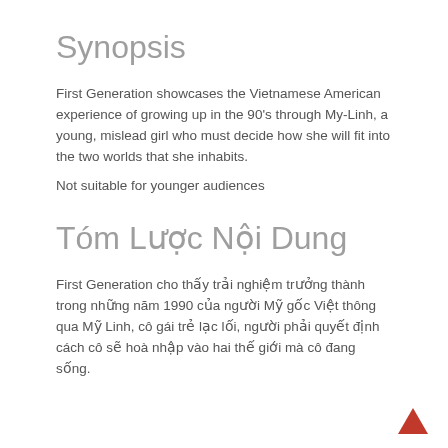Synopsis
First Generation showcases the Vietnamese American experience of growing up in the 90's through My-Linh, a young, mislead girl who must decide how she will fit into the two worlds that she inhabits.
Not suitable for younger audiences
Tóm Lược Nội Dung
First Generation cho thấy trải nghiệm trưởng thành trong những năm 1990 của người Mỹ gốc Việt thông qua Mỹ Linh, cô gái trẻ lạc lối, người phải quyết định cách cô sẽ hoà nhập vào hai thế giới mà cô đang sống.